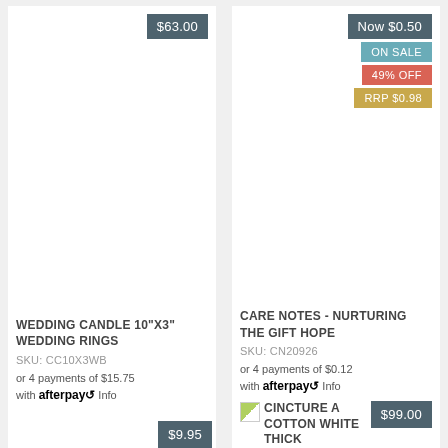$63.00
WEDDING CANDLE 10"X3" WEDDING RINGS
SKU: CC10X3WB
or 4 payments of $15.75 with afterpay Info
$9.95
Now $0.50
ON SALE
49% OFF
RRP $0.98
CARE NOTES - NURTURING THE GIFT HOPE
SKU: CN20926
or 4 payments of $0.12 with afterpay Info
$99.00
CINCTURE A COTTON WHITE THICK